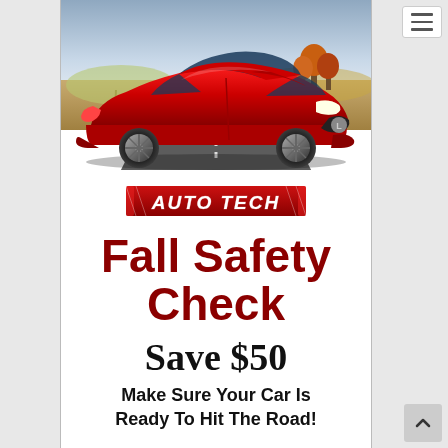[Figure (photo): Red sports car (Lexus RC) on a road with autumn scenery background]
[Figure (logo): AUTO TECH logo in red italic block text with racing stripe styling]
Fall Safety Check
Save $50
Make Sure Your Car Is Ready To Hit The Road!